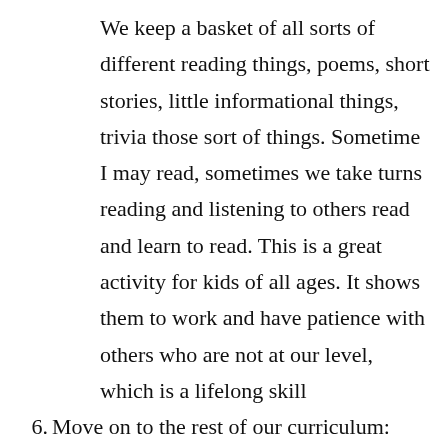We keep a basket of all sorts of different reading things, poems, short stories, little informational things, trivia those sort of things. Sometime I may read, sometimes we take turns reading and listening to others read and learn to read. This is a great activity for kids of all ages. It shows them to work and have patience with others who are not at our level, which is a lifelong skill
Move on to the rest of our curriculum: About this time its nap time for the littles, and the three older kids break off into stations I have scheduled for them. I spend anywhere from 15-40 minutes with each kid walking through language arts. While the